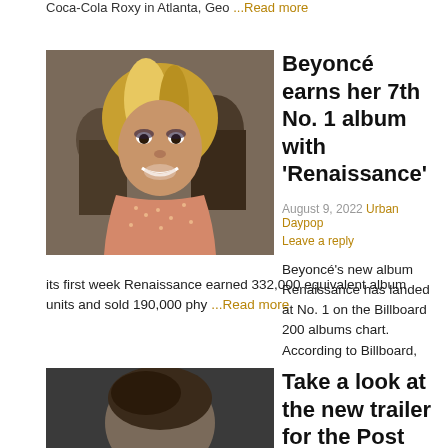Coca-Cola Roxy in Atlanta, Geo ...Read more
[Figure (photo): Photo of Beyoncé smiling, wearing a beaded peach/orange outfit, with people in background]
Beyoncé earns her 7th No. 1 album with 'Renaissance'
August 9, 2022 Urban Daypop
Leave a reply
Beyoncé's new album Renaissance has landed at No. 1 on the Billboard 200 albums chart. According to Billboard, its first week Renaissance earned 332,000 equivalent album units and sold 190,000 phy ...Read more
[Figure (photo): Photo of a man's head from above, dark background]
Take a look at the new trailer for the Post Malone